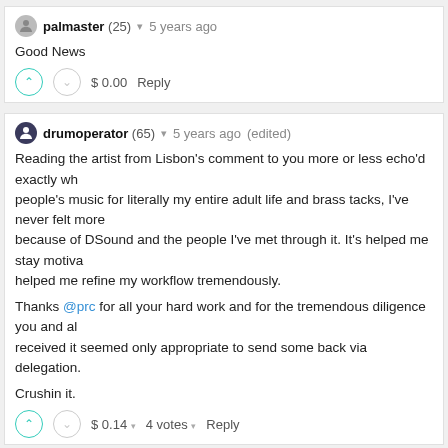palmaster (25) ▾ 5 years ago
Good News
$ 0.00   Reply
drumoperator (65) ▾ 5 years ago (edited)
Reading the artist from Lisbon's comment to you more or less echo'd exactly wh... people's music for literally my entire adult life and brass tacks, I've never felt more... because of DSound and the people I've met through it. It's helped me stay motiva... helped me refine my workflow tremendously.

Thanks @prc for all your hard work and for the tremendous diligence you and al... received it seemed only appropriate to send some back via delegation.

Crushin it.
$ 0.14 ▾   4 votes ▾   Reply
prc (64) ▾ 5 years ago
Thanks a lot for your kind words! :) Together we can make DSound the biggest... content creators of all times! This is just the beginning... ;)
$ 0.18 ▾   3 votes ▾   Reply